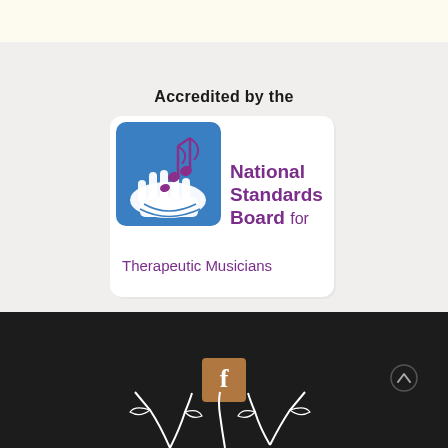Accredited by the
[Figure (logo): National Standards Board for Therapeutic Musicians logo — blue rounded square with a white hand holding musical notes, beside text reading 'National Standards Board for Therapeutic Musicians' in purple/maroon on white background]
[Figure (other): Facebook social media icon — sandy brown square with white letter f]
[Figure (other): Scroll-to-top arrow button (up chevron) on dark background]
[Figure (illustration): White decorative floral / vine illustration on dark background at bottom of page]